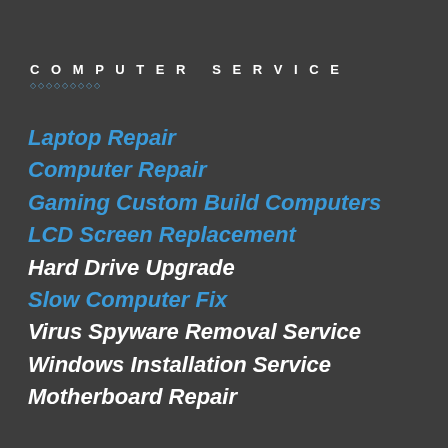COMPUTER SERVICE
Laptop Repair
Computer Repair
Gaming Custom Build Computers
LCD Screen Replacement
Hard Drive Upgrade
Slow Computer Fix
Virus Spyware Removal Service
Windows Installation Service
Motherboard Repair